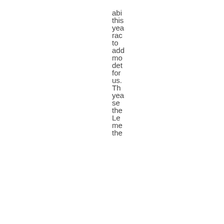abo
this
yea
rac
to
add
mo
det
for
us.
Th
yea
se
the
Le
me
the